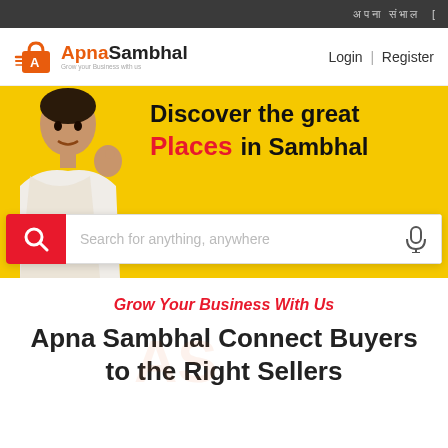top navigation bar with Hindi/regional text
[Figure (logo): ApnaSambhal logo with shopping bag icon, orange and black text, tagline 'Grow your Business with us']
Login | Register
[Figure (photo): Hero banner with yellow background showing a smiling young man. Text: 'Discover the great Places in Sambhal' with a search bar 'Search for anything, anywhere']
Grow Your Business With Us
Apna Sambhal Connect Buyers to the Right Sellers